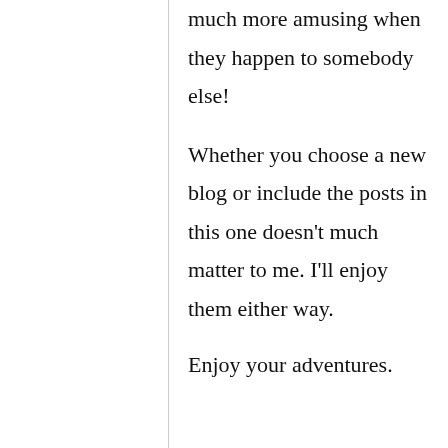much more amusing when they happen to somebody else!
Whether you choose a new blog or include the posts in this one doesn't much matter to me. I'll enjoy them either way.
Enjoy your adventures.
katnhwi
[Figure (other): Petco advertisement banner: 'Your One-Stop Summer Pet Shop' with Petco logo and navigation arrow icon]